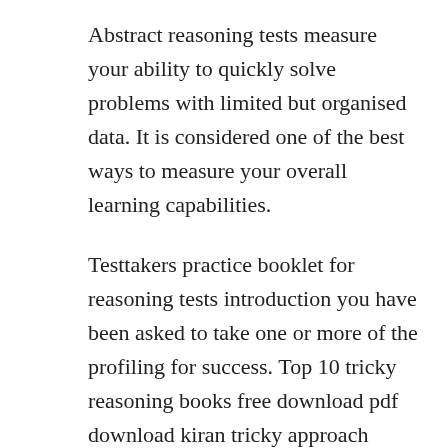Abstract reasoning tests measure your ability to quickly solve problems with limited but organised data. It is considered one of the best ways to measure your overall learning capabilities.
Testtakers practice booklet for reasoning tests introduction you have been asked to take one or more of the profiling for success. Top 10 tricky reasoning books free download pdf download kiran tricky approach reasoning verbal and non verbal pdf click here download kiran tricky reasoning verbal non verbal book